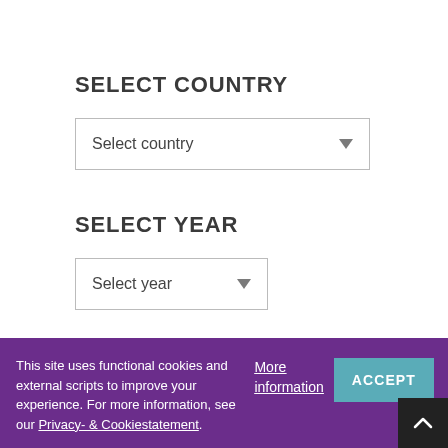SELECT COUNTRY
[Figure (other): Dropdown selector box labeled 'Select country' with a downward arrow]
SELECT YEAR
[Figure (other): Dropdown selector box labeled 'Select year' with a downward arrow]
This site uses functional cookies and external scripts to improve your experience. For more information, see our Privacy- & Cookiestatement.
More information
ACCEPT